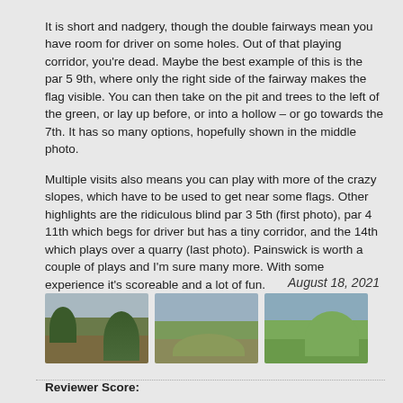It is short and nadgery, though the double fairways mean you have room for driver on some holes. Out of that playing corridor, you're dead. Maybe the best example of this is the par 5 9th, where only the right side of the fairway makes the flag visible. You can then take on the pit and trees to the left of the green, or lay up before, or into a hollow – or go towards the 7th. It has so many options, hopefully shown in the middle photo.
Multiple visits also means you can play with more of the crazy slopes, which have to be used to get near some flags. Other highlights are the ridiculous blind par 3 5th (first photo), par 4 11th which begs for driver but has a tiny corridor, and the 14th which plays over a quarry (last photo). Painswick is worth a couple of plays and I'm sure many more. With some experience it's scoreable and a lot of fun.
August 18, 2021
[Figure (photo): Three thumbnail photos of a golf course showing fairways, trees, mounds and hills]
Reviewer Score: